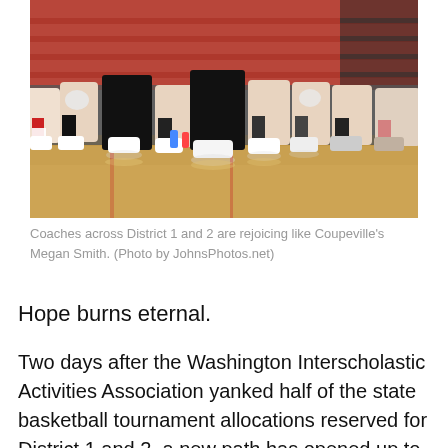[Figure (photo): Basketball players sitting on a bench at the sideline of a gymnasium, showing their legs and sneakers from the knees down, with reflective hardwood floor visible. Red and white gym colors in background.]
Coaches across District 1 and 2 are rejoicing like Coupeville's Megan Smith. (Photo by JohnsPhotos.net)
Hope burns eternal.
Two days after the Washington Interscholastic Activities Association yanked half of the state basketball tournament allocations reserved for District 1 and 2, a new path has opened up to potentially restore those berths.